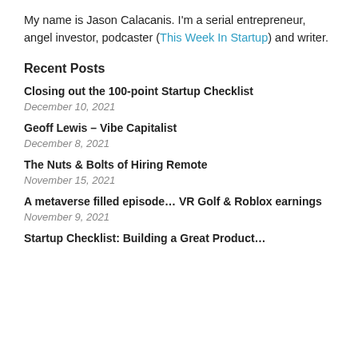My name is Jason Calacanis. I'm a serial entrepreneur, angel investor, podcaster (This Week In Startup) and writer.
Recent Posts
Closing out the 100-point Startup Checklist
December 10, 2021
Geoff Lewis – Vibe Capitalist
December 8, 2021
The Nuts & Bolts of Hiring Remote
November 15, 2021
A metaverse filled episode… VR Golf & Roblox earnings
November 9, 2021
Startup Checklist: Building a Great Product…